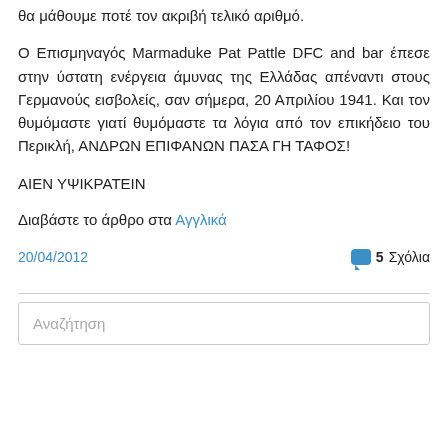θα μάθουμε ποτέ τον ακριβή τελικό αριθμό.
Ο Επισμηναγός Marmaduke Pat Pattle DFC and bar έπεσε στην ύστατη ενέργεια άμυνας της Ελλάδας απέναντι στους Γερμανούς εισβολείς, σαν σήμερα, 20 Απριλίου 1941. Και τον θυμόμαστε γιατί θυμόμαστε τα λόγια από τον επικήδειο του Περικλή, ΑΝΔΡΩΝ ΕΠΙΦΑΝΩΝ ΠΑΣΑ ΓΗ ΤΑΦΟΣ!
ΑΙΕΝ ΥΨΙΚΡΑΤΕΙΝ
Διαβάστε το άρθρο στα Αγγλικά
20/04/2012
5 Σχόλια
Αναζήτηση